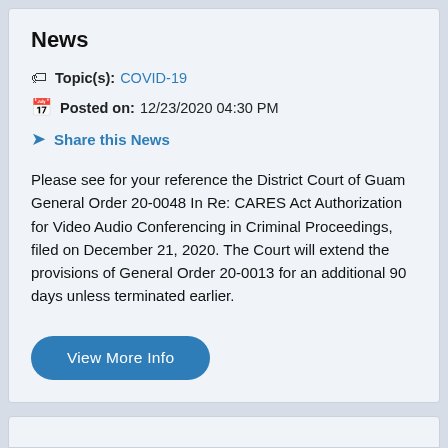News
Topic(s): COVID-19
Posted on: 12/23/2020 04:30 PM
Share this News
Please see for your reference the District Court of Guam General Order 20-0048 In Re: CARES Act Authorization for Video Audio Conferencing in Criminal Proceedings, filed on December 21, 2020. The Court will extend the provisions of General Order 20-0013 for an additional 90 days unless terminated earlier.
View More Info